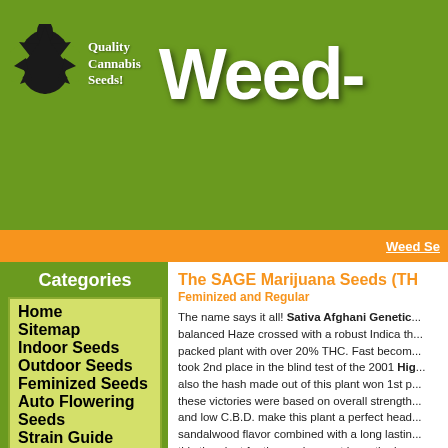[Figure (logo): Cannabis leaf logo with 'Quality Cannabis Seeds!' text and 'Weed-' title in large white font on green background]
Weed Se
Categories
Home
Sitemap
Indoor Seeds
Outdoor Seeds
Feminized Seeds
Auto Flowering Seeds
Strain Guide
Breeders Strains
Super Strong Strains
Cannabis Cup Winners
Weed Seeds Specials
New Arrivals
Top 10
The SAGE Marijuana Seeds (TH
Feminized and Regular
The name says it all! Sativa Afghani Genetic... balanced Haze crossed with a robust Indica th... packed plant with over 20% THC. Fast becom... took 2nd place in the blind test of the 2001 Hig... also the hash made out of this plant won 1st p... these victories were based on overall strength... and low C.B.D. make this plant a perfect head... sandalwood flavor combined with a long lastin... this the plant for those who must have the bes... rewarded with large buds that will seem to dou... weeks.
| Property | Value |
| --- | --- |
| Indoor / Outdoor: | Suitable for indoor an |
| Plant Type: | Mostly Sativa |